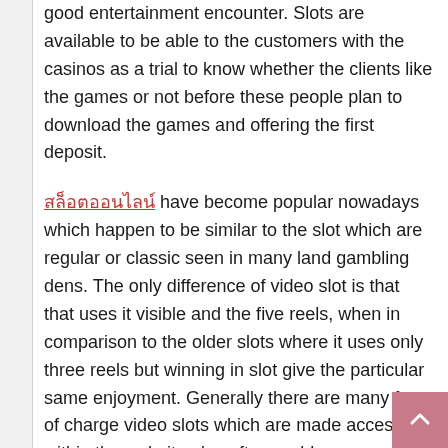good entertainment encounter. Slots are available to be able to the customers with the casinos as a trial to know whether the clients like the games or not before these people plan to download the games and offering the first deposit.
[Thai link text] have become popular nowadays which happen to be similar to the slot which are regular or classic seen in many land gambling dens. The only difference of video slot is that that uses it visible and the five reels, when in comparison to the older slots where it uses only three reels but winning in slot give the particular same enjoyment. Generally there are many free of charge video slots which are made accessible within the website plus after enables